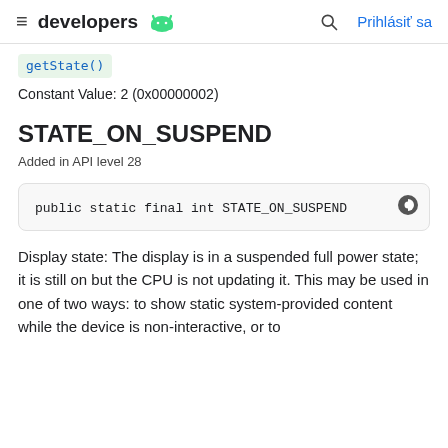developers  Prihlásiť sa
getState()
Constant Value: 2 (0x00000002)
STATE_ON_SUSPEND
Added in API level 28
public static final int STATE_ON_SUSPEND
Display state: The display is in a suspended full power state; it is still on but the CPU is not updating it. This may be used in one of two ways: to show static system-provided content while the device is non-interactive, or to